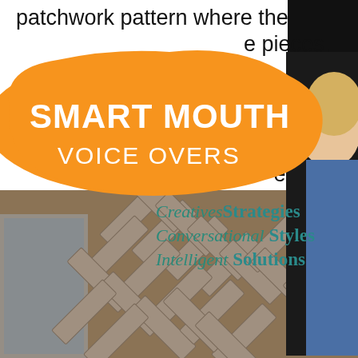patchwork pattern where the pieces. piece ur scrap pieces on top in your desired pattern. have enough Styles the entire looking.
[Figure (logo): Orange blob-shaped logo with text SMART MOUTH VOICE OVERS in white bold font]
[Figure (infographic): Overlaid teal/green italic and bold text: Creatives Strategies, Conversational Styles, Intelligent Solutions]
[Figure (other): Hamburger menu icon button (three horizontal lines inside a rounded rectangle border)]
[Figure (photo): Partial photo of smiling blonde woman in denim jacket on dark right side strip]
[Figure (photo): Photo of herringbone pattern flooring being laid out, gray/brown plank tiles on wooden floor with area rug visible]